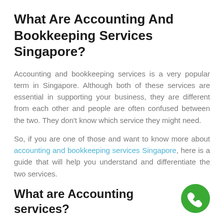What Are Accounting And Bookkeeping Services Singapore?
Accounting and bookkeeping services is a very popular term in Singapore. Although both of these services are essential in supporting your business, they are different from each other and people are often confused between the two. They don't know which service they might need.
So, if you are one of those and want to know more about accounting and bookkeeping services Singapore, here is a guide that will help you understand and differentiate the two services.
What are Accounting services?
[Figure (illustration): Green circular phone/call button icon in bottom-right corner]